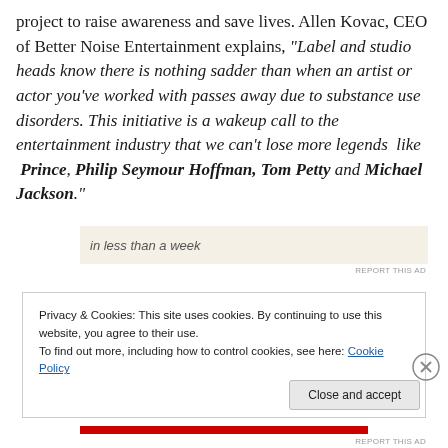project to raise awareness and save lives. Allen Kovac, CEO of Better Noise Entertainment explains, "Label and studio heads know there is nothing sadder than when an artist or actor you've worked with passes away due to substance use disorders. This initiative is a wakeup call to the entertainment industry that we can't lose more legends like Prince, Philip Seymour Hoffman, Tom Petty and Michael Jackson."
[Figure (other): Partial advertisement banner showing text 'in less than a week']
REPORT THIS AD
Privacy & Cookies: This site uses cookies. By continuing to use this website, you agree to their use. To find out more, including how to control cookies, see here: Cookie Policy
Close and accept